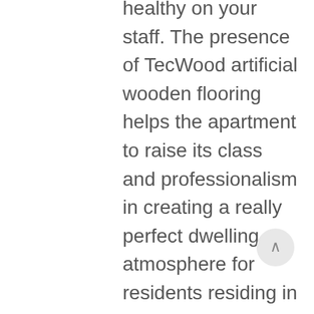healthy on your staff. The presence of TecWood artificial wooden flooring helps the apartment to raise its class and professionalism in creating a really perfect dwelling atmosphere for residents residing in MHD Trung Van. In keeping with data from the investor of the MHD Trung Van challenge, the TecWood brand of wood flooring of Kien Tam Company will likely be selected to decorate the pool area and condominium complex. Investors that meet the requirement of non-resident aliens is not going to be taxed as US residents. The passport has the identical rights as the country's residents with none residence necessities. Turkish citizens are also eligible to use for an E-2 treaty investor visa, a non-immigrant investor visa issued by the United States to nationals of some countries who